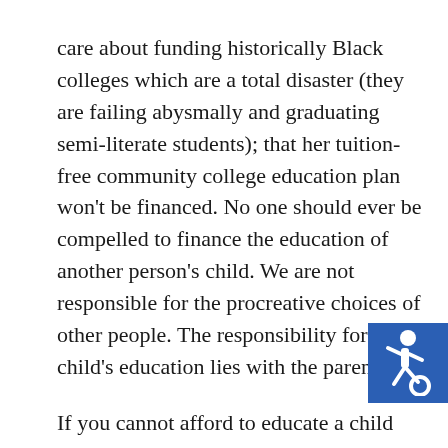care about funding historically Black colleges which are a total disaster (they are failing abysmally and graduating semi-literate students); that her tuition-free community college education plan won't be financed. No one should ever be compelled to finance the education of another person's child. We are not responsible for the procreative choices of other people. The responsibility for a child's education lies with the parents.
If you cannot afford to educate a child then don't have one, just as you would not purchase a house or car if you could not afford to finance them. No one has a constitutional right to have children. And no
[Figure (illustration): Accessibility icon — white wheelchair user symbol on a blue square background, positioned in the lower-right corner of the page.]